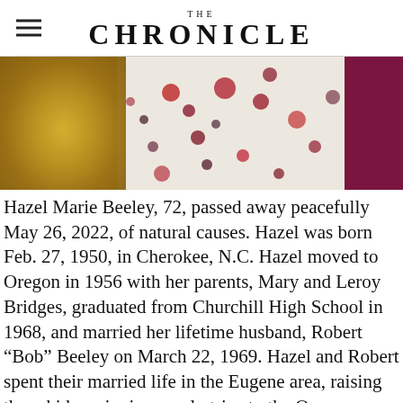THE CHRONICLE
[Figure (photo): Close-up photo of a person wearing a gold sequined garment and a white floral-patterned fabric with red and dark maroon flower prints, with a dark magenta/purple fabric visible on the right edge.]
Hazel Marie Beeley, 72, passed away peacefully May 26, 2022, of natural causes. Hazel was born Feb. 27, 1950, in Cherokee, N.C. Hazel moved to Oregon in 1956 with her parents, Mary and Leroy Bridges, graduated from Churchill High School in 1968, and married her lifetime husband, Robert “Bob” Beeley on March 22, 1969. Hazel and Robert spent their married life in the Eugene area, raising three kids, enjoying yearly trips to the Oregon Coast, Lane County Fair, and league-sanctioned bowling tournaments